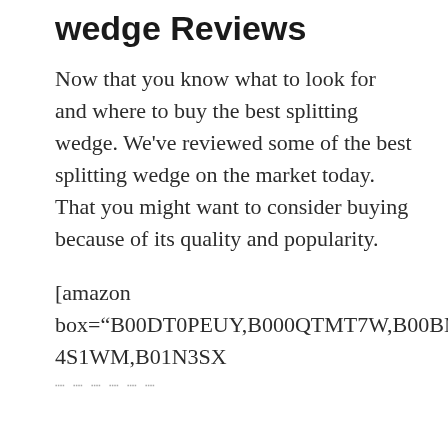wedge Reviews
Now that you know what to look for and where to buy the best splitting wedge. We’ve reviewed some of the best splitting wedge on the market today. That you might want to consider buying because of its quality and popularity.
[amazon box=“B00DT0PEUY,B000QTMT7W,B00BMUDH1Q,B0000 4S1WM,B01N3SX